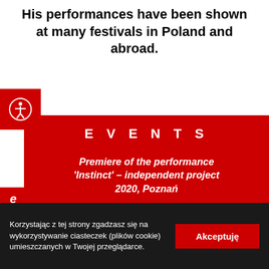His performances have been shown at many festivals in Poland and abroad.
EVENTS
Premiere of the performance 'Instinct' – independent project 2020, Poznań
Les Hivernales Dance Festival –
Korzystając z tej strony zgadzasz się na wykorzystywanie ciasteczek (plików cookie) umieszczanych w Twojej przeglądarce.